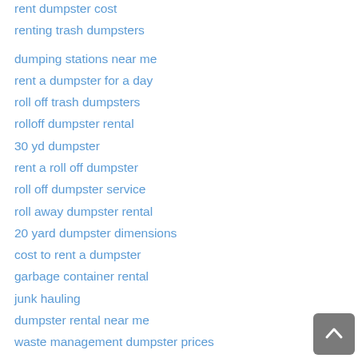rent dumpster cost
renting trash dumpsters
dumping stations near me
rent a dumpster for a day
roll off trash dumpsters
rolloff dumpster rental
30 yd dumpster
rent a roll off dumpster
roll off dumpster service
roll away dumpster rental
20 yard dumpster dimensions
cost to rent a dumpster
garbage container rental
junk hauling
dumpster rental near me
waste management dumpster prices
roll off dumpster sizes
public dumpsters near me
rent a trash bin